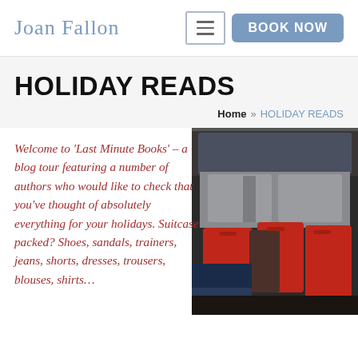Joan Fallon — BOOK NOW
HOLIDAY READS
Home » HOLIDAY READS
Welcome to 'Last Minute Books' – a blog tour featuring a number of authors who would like to check that you've thought of absolutely everything for your holidays. Suitcase packed? Shoes, sandals, trainers, jeans, shorts, dresses, trousers, blouses, shirts…
[Figure (photo): Open trunk/boot of a car loaded with red and dark luggage bags, a person bending in to load items.]